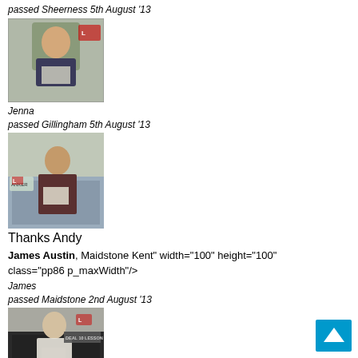passed Sheerness 5th August '13
[Figure (photo): Young woman holding a certificate next to a red car]
Jenna
passed Gillingham 5th August '13
[Figure (photo): Young man holding a certificate next to a car with driving school signage]
Thanks Andy
James Austin, Maidstone Kent" width="100" height="100" class="pp86 p_maxWidth"/>
James
passed Maidstone 2nd August '13
[Figure (photo): Person holding certificate next to a black car with driving school text]